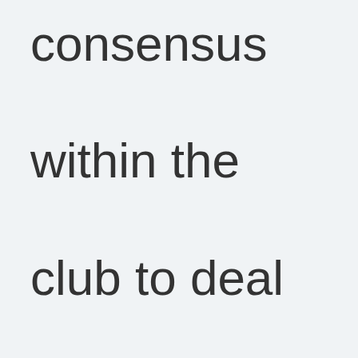consensus within the club to deal with it. Therefore, it